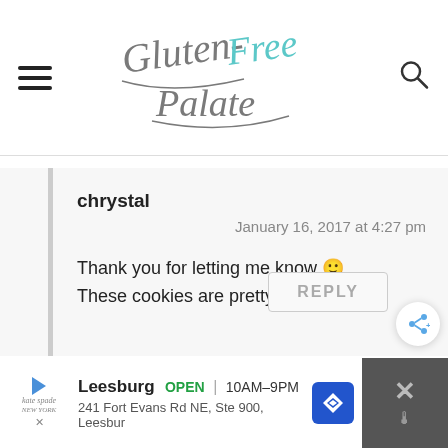Gluten-Free Palate
chrystal
January 16, 2017 at 4:27 pm
Thank you for letting me know 🙂 These cookies are pretty amazing!
REPLY
[Figure (screenshot): Ad banner for Leesburg location: OPEN 10AM-9PM, 241 Fort Evans Rd NE, Ste 900, Leesbur]